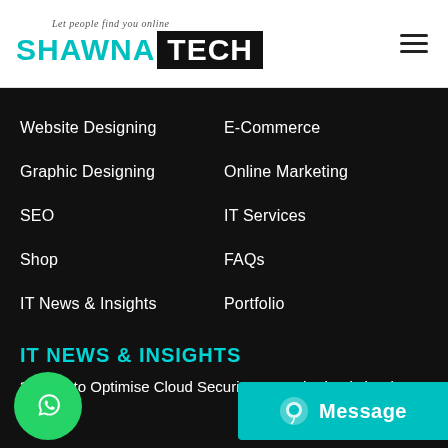Let people find you online — SHAWNA TECH
Website Designing
E-Commerce
Graphic Designing
Online Marketing
SEO
IT Services
Shop
FAQs
IT News & Insights
Portfolio
IT NEWS & INSIGHTS
3 Ways to Optimise Cloud Security Beyond What is in Place
30, 2022